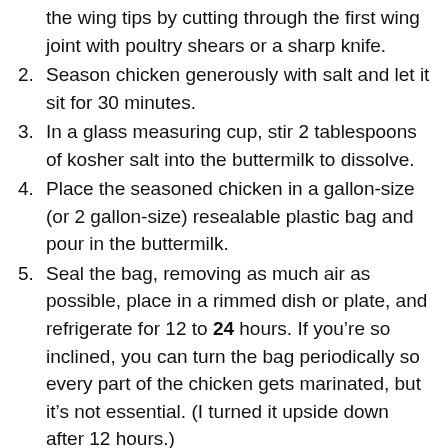the wing tips by cutting through the first wing joint with poultry shears or a sharp knife.
Season chicken generously with salt and let it sit for 30 minutes.
In a glass measuring cup, stir 2 tablespoons of kosher salt into the buttermilk to dissolve.
Place the seasoned chicken in a gallon-size (or 2 gallon-size) resealable plastic bag and pour in the buttermilk.
Seal the bag, removing as much air as possible, place in a rimmed dish or plate, and refrigerate for 12 to 24 hours. If you’re so inclined, you can turn the bag periodically so every part of the chicken gets marinated, but it’s not essential. (I turned it upside down after 12 hours.)
Remove the chicken from the fridge an hour before you plan to cook it.